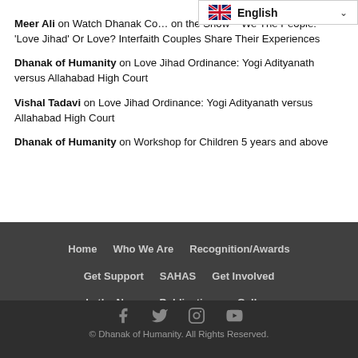[Figure (screenshot): English language selector dropdown with UK flag]
Meer Ali on Watch Dhanak Co... on the Show – We The People: 'Love Jihad' Or Love? Interfaith Couples Share Their Experiences
Dhanak of Humanity on Love Jihad Ordinance: Yogi Adityanath versus Allahabad High Court
Vishal Tadavi on Love Jihad Ordinance: Yogi Adityanath versus Allahabad High Court
Dhanak of Humanity on Workshop for Children 5 years and above
Home   Who We Are   Recognition/Awards   Get Support   SAHAS   Get Involved   In the News   Publications   Gallery   Be Inspired   Get in Touch   Privacy Policy
© Dhanak of Humanity. All Rights Reserved.